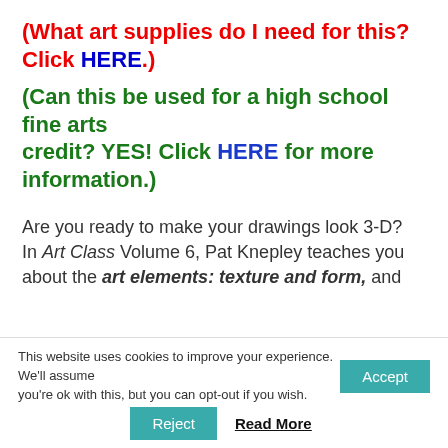(What art supplies do I need for this? Click HERE.)
(Can this be used for a high school fine arts credit? YES! Click HERE for more information.)
Are you ready to make your drawings look 3-D? In Art Class Volume 6, Pat Knepley teaches you about the art elements: texture and form, and
This website uses cookies to improve your experience. We'll assume you're ok with this, but you can opt-out if you wish.